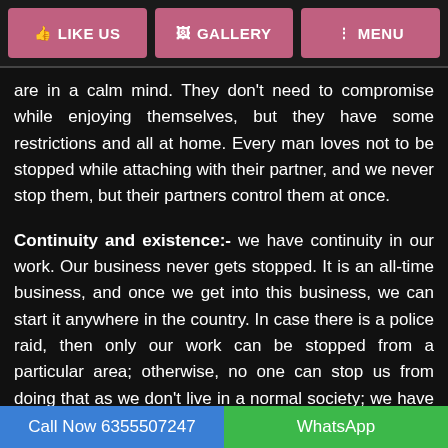LIKE US | GALLERY | MENU
are in a calm mind. They don't need to compromise while enjoying themselves, but they have some restrictions and all at home. Every man loves not to be stopped while attaching with their partner, and we never stop them, but their partners control them at once.
Continuity and existence:- we have continuity in our work. Our business never gets stopped. It is an all-time business, and once we get into this business, we can start it anywhere in the country. In case there is a police raid, then only our work can be stopped from a particular area; otherwise, no one can stop us from doing that as we don't live in a normal society; we have our site where we live and execute our work. Our customers never get disappointed by us. We are available for them from anywhere in the country and reach them only by a call and location. Every customer has its own needs and provides the service from any point of the country and
Call Now 6355507247 | WhatsApp